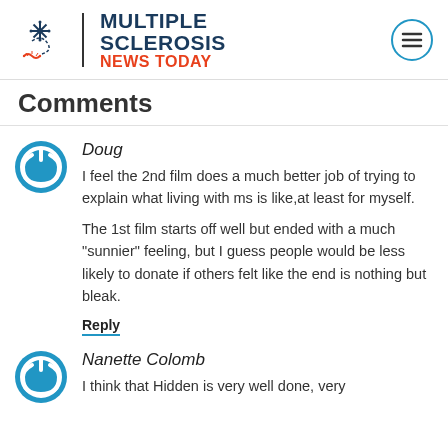[Figure (logo): Multiple Sclerosis News Today logo with snowflake/nerve icon and hamburger menu button]
Comments
[Figure (illustration): Blue circular power button avatar icon for commenter Doug]
Doug
I feel the 2nd film does a much better job of trying to explain what living with ms is like,at least for myself.
The 1st film starts off well but ended with a much "sunnier" feeling, but I guess people would be less likely to donate if others felt like the end is nothing but bleak.
Reply
[Figure (illustration): Blue circular power button avatar icon for commenter Nanette Colomb]
Nanette Colomb
I think that Hidden is very well done, very